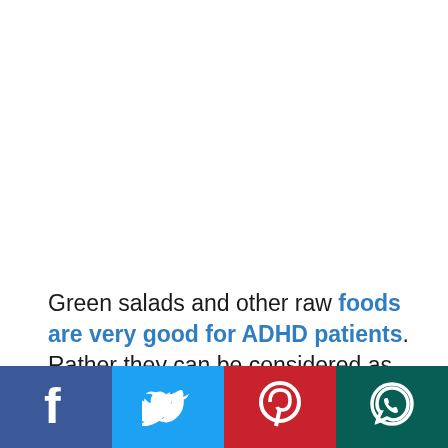Green salads and other raw foods are very good for ADHD patients. Rather they can be considered as the best herbal remedy. Mixed green salads can be served to the patients during dinner time. Also, green vegetables are rich in
[Figure (other): Social media share bar at bottom with Facebook, Twitter, Pinterest, and WhatsApp buttons]